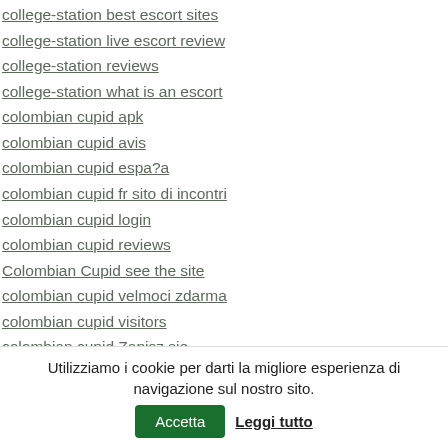college-station best escort sites
college-station live escort review
college-station reviews
college-station what is an escort
colombian cupid apk
colombian cupid avis
colombian cupid espa?a
colombian cupid fr sito di incontri
colombian cupid login
colombian cupid reviews
Colombian Cupid see the site
colombian cupid velmoci zdarma
colombian cupid visitors
colombian cupid Zapisz sie
colombian-chat-room review
Colombian-Cupid aplikace
Utilizziamo i cookie per darti la migliore esperienza di navigazione sul nostro sito. Accetta Leggi tutto